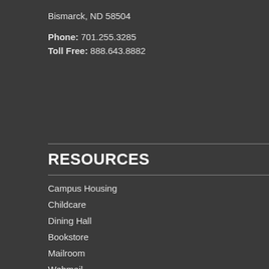Bismarck, ND 58504
Phone: 701.255.3285
Toll Free: 888.643.8882
RESOURCES
Campus Housing
Childcare
Dining Hall
Bookstore
Mailroom
Webmail
Accreditation & Compliance
Institutional Policies